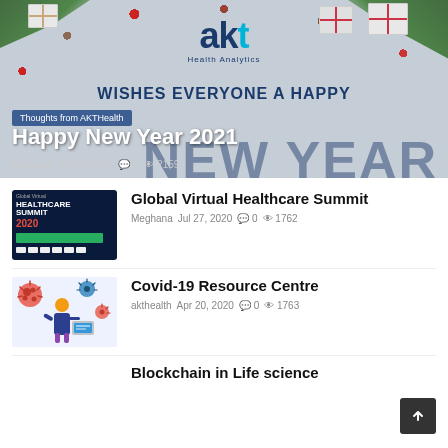[Figure (photo): AKT Health Analytics hero banner with Christmas/New Year decorations (gifts, pine branches, pine cones), AKT logo, 'WISHES EVERYONE A HAPPY NEW YEAR' text overlay]
Thoughts from AKTHealth
Happy New Year 2021
Meghana  Jan 5, 2021  💬 0  👁 2159
[Figure (photo): Global Virtual Healthcare Summit 2020 event banner thumbnail with dark background and sponsor logos]
Global Virtual Healthcare Summit
Meghana  Jul 27, 2020  💬 0  👁 1762
[Figure (illustration): Covid-19 Resource Centre illustration with medical/science icons and a person working at a computer]
Covid-19 Resource Centre
akthealth  Apr 20, 2020  💬 0  👁 1763
Blockchain in Life science